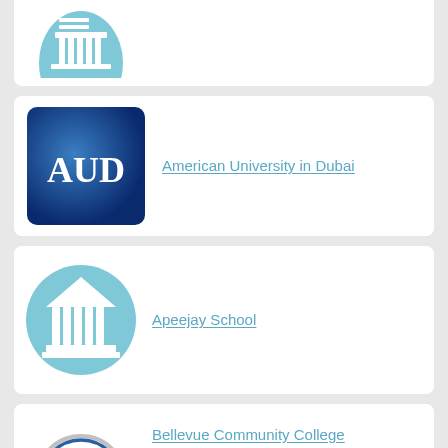[Figure (logo): Partial institution logo at top – circular light blue background with white classical building/columns icon]
[Figure (logo): American University in Dubai (AUD) logo – dark blue square with gradient, white text AUD]
American University in Dubai
[Figure (logo): Apeejay School logo – circular light blue background with white classical building/columns icon]
Apeejay School
[Figure (logo): Bellevue Community College logo – circular with letter B]
Bellevue Community College